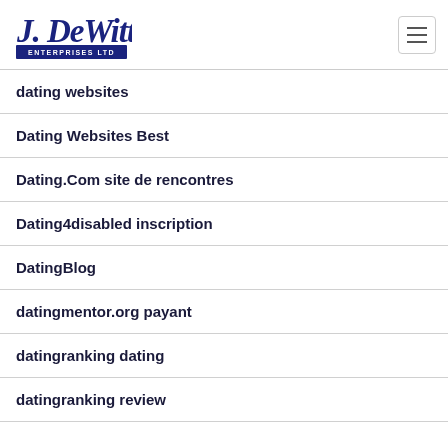[Figure (logo): J. DeWitt Enterprises Ltd logo in dark navy blue, with stylized script for 'J. DeWitt' and block text 'ENTERPRISES LTD' on a banner]
dating websites
Dating Websites Best
Dating.Com site de rencontres
Dating4disabled inscription
DatingBlog
datingmentor.org payant
datingranking dating
datingranking review